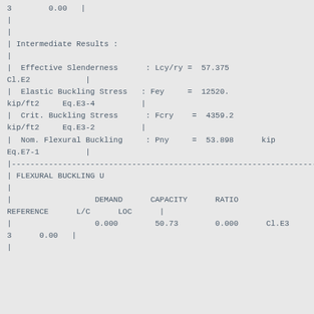3        0.00   |
|
|
| Intermediate Results :
|
|  Effective Slenderness      : Lcy/ry =  57.375   Cl.E2          |
|  Elastic Buckling Stress   : Fey     =  12520.  kip/ft2     Eq.E3-4          |
|  Crit. Buckling Stress      : Fcry    =  4359.2  kip/ft2     Eq.E3-2          |
|  Nom. Flexural Buckling     : Pny     =  53.898      kip  Eq.E7-1          |
|--------------------------------------------------------------------|
| FLEXURAL BUCKLING U
|
|                  DEMAND      CAPACITY      RATIO      REFERENCE      L/C      LOC      |
|                  0.000        50.73        0.000      Cl.E3  3      0.00   |
|